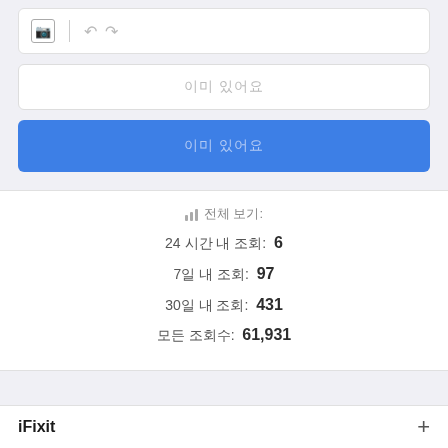[Figure (screenshot): Toolbar with image icon and undo/redo arrows]
이미 있어요 (placeholder input box)
이미 있어요 (blue button)
전체 보기:  24 시간 내 조회: 6  7일 내 조회: 97  30일 내 조회: 431  모든 조회수: 61,931
iFixit  +